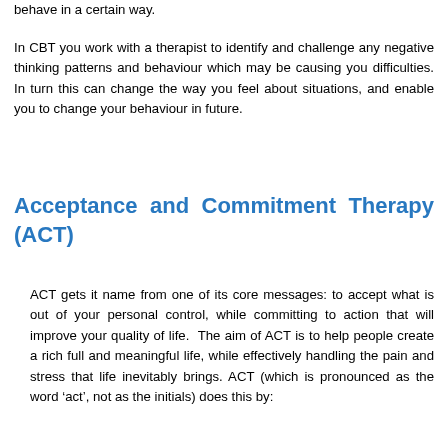behave in a certain way.
In CBT you work with a therapist to identify and challenge any negative thinking patterns and behaviour which may be causing you difficulties. In turn this can change the way you feel about situations, and enable you to change your behaviour in future.
Acceptance and Commitment Therapy (ACT)
ACT gets it name from one of its core messages: to accept what is out of your personal control, while committing to action that will improve your quality of life.  The aim of ACT is to help people create a rich full and meaningful life, while effectively handling the pain and stress that life inevitably brings. ACT (which is pronounced as the word ‘act’, not as the initials) does this by: